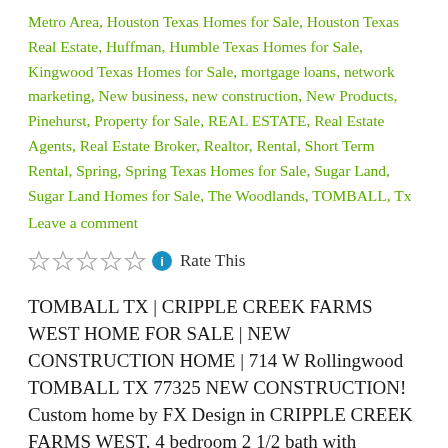Metro Area, Houston Texas Homes for Sale, Houston Texas Real Estate, Huffman, Humble Texas Homes for Sale, Kingwood Texas Homes for Sale, mortgage loans, network marketing, New business, new construction, New Products, Pinehurst, Property for Sale, REAL ESTATE, Real Estate Agents, Real Estate Broker, Realtor, Rental, Short Term Rental, Spring, Spring Texas Homes for Sale, Sugar Land, Sugar Land Homes for Sale, The Woodlands, TOMBALL, Tx
Leave a comment
Rate This
TOMBALL TX | CRIPPLE CREEK FARMS WEST HOME FOR SALE | NEW CONSTRUCTION HOME | 714 W Rollingwood TOMBALL TX 77325 NEW CONSTRUCTION! Custom home by FX Design in CRIPPLE CREEK FARMS WEST. 4 bedroom 2 1/2 bath with attached 2 car garage. On over 1/2 of an